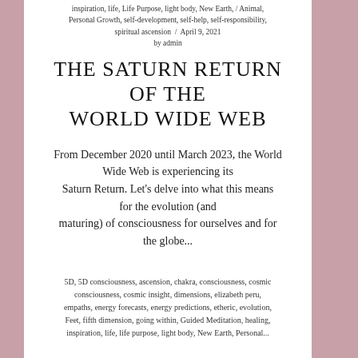inspiration, life, Life Purpose, light body, New Earth, Personal Growth, self-development, self-help, self-responsibility, spiritual ascension / April 9, 2021 by admin
THE SATURN RETURN OF THE WORLD WIDE WEB
From December 2020 until March 2023, the World Wide Web is experiencing its Saturn Return. Let's delve into what this means for the evolution (and maturing) of consciousness for ourselves and for the globe...
5D, 5D consciousness, ascension, chakra, consciousness, cosmic consciousness, cosmic insight, dimensions, elizabeth peru, empaths, energy forecasts, energy predictions, etheric, evolution, Feet, fifth dimension, going within, Guided Meditation, healing, inspiration, life, life purpose, light body, New Earth, Personal Growth, self-development, self-help, self-responsibility, spiritual ascension